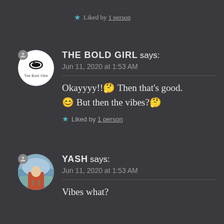★ Liked by 1 person
THE BOLD GIRL says: Jun 11, 2020 at 1:53 AM
Okayyyy!!🤔 Then that's good. 😊 But then the vibes?🤔
★ Liked by 1 person
YASH says: Jun 11, 2020 at 1:53 AM
Vibes what?